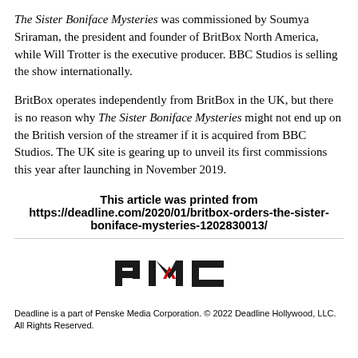The Sister Boniface Mysteries was commissioned by Soumya Sriraman, the president and founder of BritBox North America, while Will Trotter is the executive producer. BBC Studios is selling the show internationally.
BritBox operates independently from BritBox in the UK, but there is no reason why The Sister Boniface Mysteries might not end up on the British version of the streamer if it is acquired from BBC Studios. The UK site is gearing up to unveil its first commissions this year after launching in November 2019.
This article was printed from https://deadline.com/2020/01/britbox-orders-the-sister-boniface-mysteries-1202830013/
[Figure (logo): PMC (Penske Media Corporation) logo in black and red]
Deadline is a part of Penske Media Corporation. © 2022 Deadline Hollywood, LLC. All Rights Reserved.